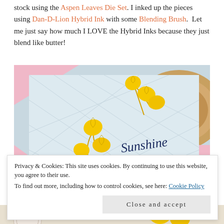stock using the Aspen Leaves Die Set. I inked up the pieces using Dan-D-Lion Hybrid Ink with some Blending Brush.  Let me just say how much I LOVE the Hybrid Inks because they just blend like butter!
[Figure (photo): A handmade greeting card with a light blue background featuring yellow aspen leaves and branches, with 'Sunshine and Smiles' written in dark navy script. Pink paper and a wooden slice visible in background.]
Privacy & Cookies: This site uses cookies. By continuing to use this website, you agree to their use.
To find out more, including how to control cookies, see here: Cookie Policy
Close and accept